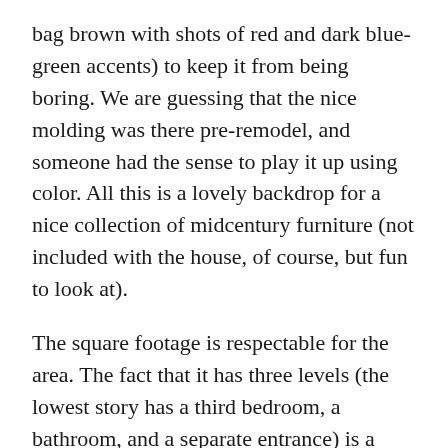bag brown with shots of red and dark blue-green accents) to keep it from being boring. We are guessing that the nice molding was there pre-remodel, and someone had the sense to play it up using color. All this is a lovely backdrop for a nice collection of midcentury furniture (not included with the house, of course, but fun to look at).
The square footage is respectable for the area. The fact that it has three levels (the lowest story has a third bedroom, a bathroom, and a separate entrance) is a bonus for homeowners who have a lot of guests or who are looking at a property with an eye to short-term rental possibilities—and these days, who isn't?
The good taste extends out to the yard, where a cool